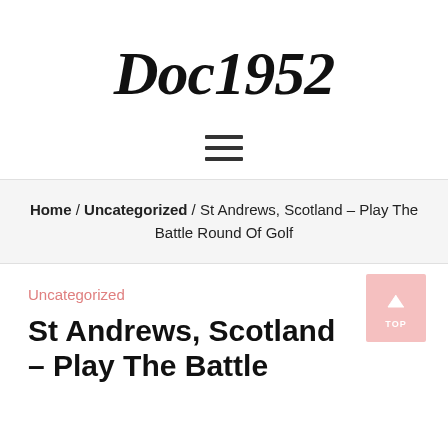Doc1952
[Figure (other): Hamburger menu icon (three horizontal lines)]
Home / Uncategorized / St Andrews, Scotland – Play The Battle Round Of Golf
Uncategorized
St Andrews, Scotland – Play The Battle Round of Golf